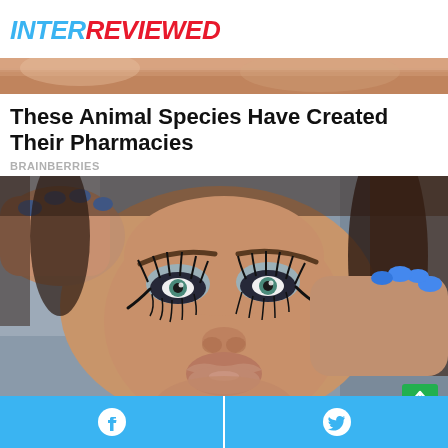INTERREVIEWED
[Figure (photo): Partial close-up photo showing skin tones, appears to be a cropped banner image at top]
These Animal Species Have Created Their Pharmacies
BRAINBERRIES
[Figure (photo): Close-up portrait of a woman with dramatic blue-toned eye makeup, long lashes, and blue painted nails, hands framing her face against a grey background]
Facebook share button and Twitter share button